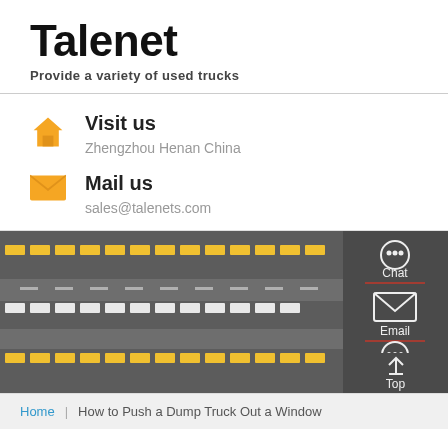Talenet
Provide a variety of used trucks
Visit us
Zhengzhou Henan China
Mail us
sales@talenets.com
[Figure (photo): Aerial view of a truck logistics depot with rows of yellow and white trucks parked on asphalt, with road markings visible]
Home | How to Push a Dump Truck Out a Window